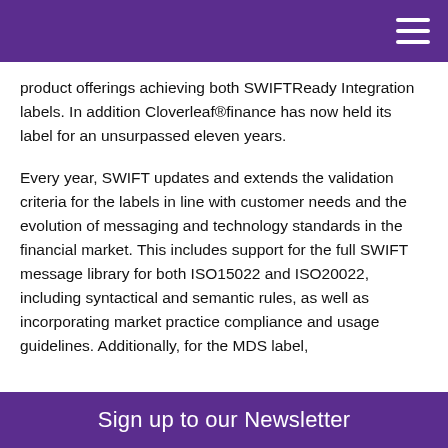product offerings achieving both SWIFTReady Integration labels. In addition Cloverleaf®finance has now held its label for an unsurpassed eleven years.
Every year, SWIFT updates and extends the validation criteria for the labels in line with customer needs and the evolution of messaging and technology standards in the financial market. This includes support for the full SWIFT message library for both ISO15022 and ISO20022, including syntactical and semantic rules, as well as incorporating market practice compliance and usage guidelines. Additionally, for the MDS label,
Sign up to our Newsletter